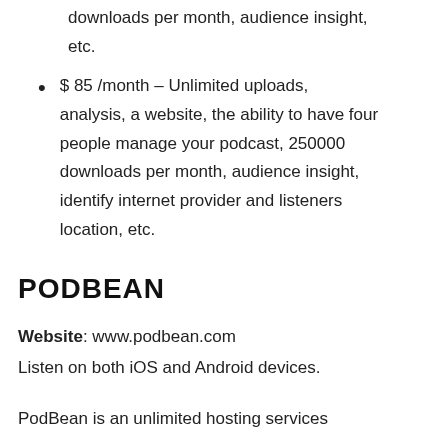downloads per month, audience insight, etc.
$ 85 /month – Unlimited uploads, analysis, a website, the ability to have four people manage your podcast, 250000 downloads per month, audience insight, identify internet provider and listeners location, etc.
PODBEAN
Website: www.podbean.com
Listen on both iOS and Android devices.
PodBean is an unlimited hosting services